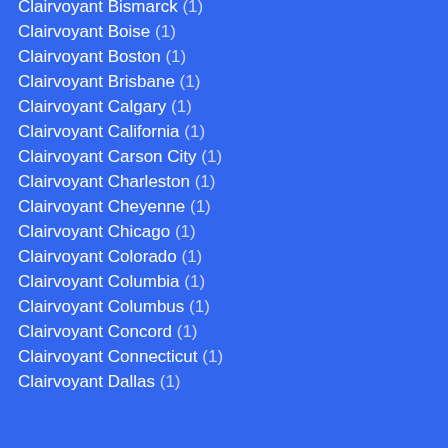Clairvoyant Bismarck (1)
Clairvoyant Boise (1)
Clairvoyant Boston (1)
Clairvoyant Brisbane (1)
Clairvoyant Calgary (1)
Clairvoyant California (1)
Clairvoyant Carson City (1)
Clairvoyant Charleston (1)
Clairvoyant Cheyenne (1)
Clairvoyant Chicago (1)
Clairvoyant Colorado (1)
Clairvoyant Columbia (1)
Clairvoyant Columbus (1)
Clairvoyant Concord (1)
Clairvoyant Connecticut (1)
Clairvoyant Dallas (1)